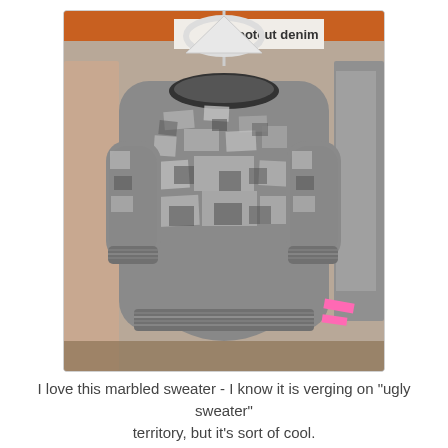[Figure (photo): A gray marbled/patterned knit sweater hanging on a white plastic hanger in a retail clothing store. The sweater has a dark crew neck trim, intricate light and dark gray jacquard-style pattern, and ribbed hem and cuffs. Behind it are other garments on a rack and a sign reading 'bootcut denim'.]
I love this marbled sweater - I know it is verging on "ugly sweater" territory, but it's sort of cool.